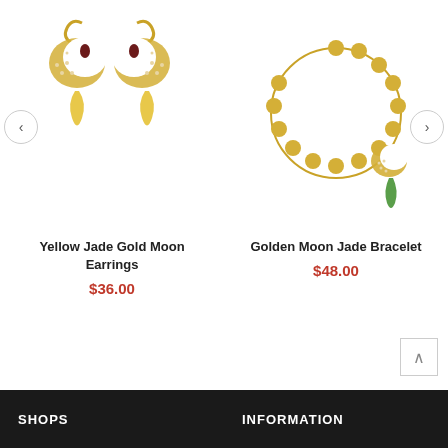[Figure (photo): Yellow Jade Gold Moon Earrings – gold crescent moon earrings with small dark red stone drop and yellow jade teardrop pendant, shown as a pair]
Yellow Jade Gold Moon Earrings
$36.00
[Figure (photo): Golden Moon Jade Bracelet – gold coin chain bracelet forming a circle with a gold crescent moon and green jade teardrop charm]
Golden Moon Jade Bracelet
$48.00
SHOPS    INFORMATION